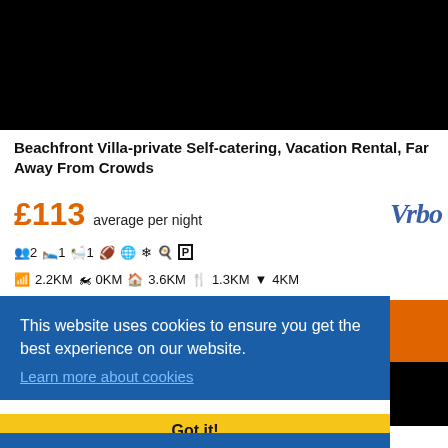[Figure (photo): Black rectangle representing a property photo area]
Beachfront Villa-private Self-catering, Vacation Rental, Far Away From Crowds
£113 average per night
[Figure (logo): Vrbo logo in blue italic serif font]
👥2  🛏1  🛁1  🏊  🌐  ❄  🍳  P
🏖 2.2KM  🚉0KM  🏬3.6KM  🍴1.3KM  ▼4KM
This website uses cookies to ensure you get the best experience on our website. Learn more about cookies
Got it!